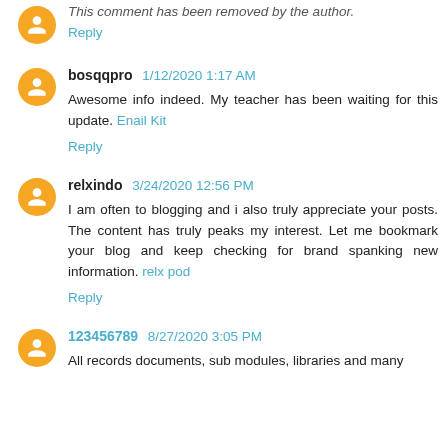This comment has been removed by the author.
Reply
bosqqpro 1/12/2020 1:17 AM
Awesome info indeed. My teacher has been waiting for this update. Enail Kit
Reply
relxindo 3/24/2020 12:56 PM
I am often to blogging and i also truly appreciate your posts. The content has truly peaks my interest. Let me bookmark your blog and keep checking for brand spanking new information. relx pod
Reply
123456789 8/27/2020 3:05 PM
All records documents, sub modules, libraries and many